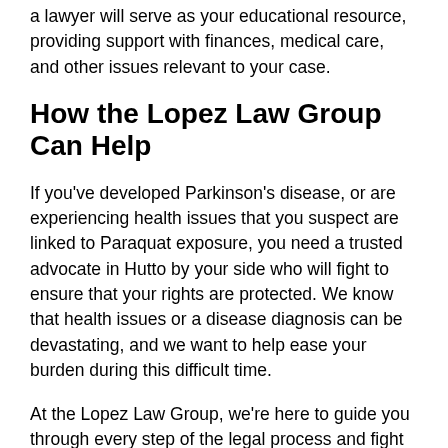a lawyer will serve as your educational resource, providing support with finances, medical care, and other issues relevant to your case.
How the Lopez Law Group Can Help
If you've developed Parkinson's disease, or are experiencing health issues that you suspect are linked to Paraquat exposure, you need a trusted advocate in Hutto by your side who will fight to ensure that your rights are protected. We know that health issues or a disease diagnosis can be devastating, and we want to help ease your burden during this difficult time.
At the Lopez Law Group, we're here to guide you through every step of the legal process and fight for the fair trial or settlement you deserve, no matter how complex the case. Our Texas mass tort litigation